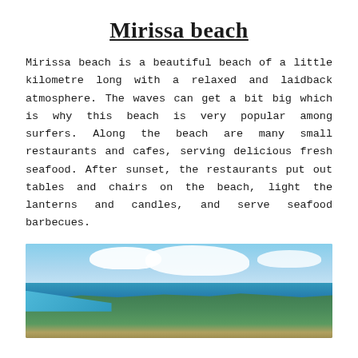Mirissa beach
Mirissa beach is a beautiful beach of a little kilometre long with a relaxed and laidback atmosphere. The waves can get a bit big which is why this beach is very popular among surfers. Along the beach are many small restaurants and cafes, serving delicious fresh seafood. After sunset, the restaurants put out tables and chairs on the beach, light the lanterns and candles, and serve seafood barbecues.
[Figure (photo): Aerial panoramic photograph of Mirissa beach showing the coastline with turquoise ocean water on the left, a sandy beach, lush green tropical vegetation covering rolling hills, and a partly cloudy blue sky above.]